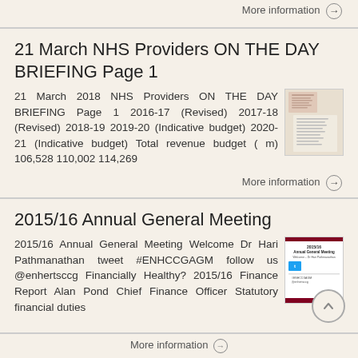More information →
21 March NHS Providers ON THE DAY BRIEFING Page 1
21 March 2018 NHS Providers ON THE DAY BRIEFING Page 1 2016-17 (Revised) 2017-18 (Revised) 2018-19 2019-20 (Indicative budget) 2020-21 (Indicative budget) Total revenue budget ( m) 106,528 110,002 114,269
More information →
2015/16 Annual General Meeting
2015/16 Annual General Meeting Welcome Dr Hari Pathmanathan tweet #ENHCCGAGM follow us @enhertsccg Financially Healthy? 2015/16 Finance Report Alan Pond Chief Finance Officer Statutory financial duties
More information →